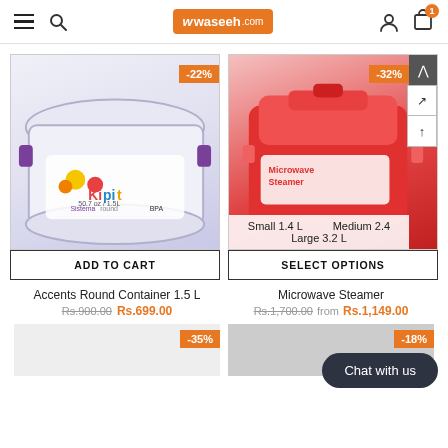waseeh.com navigation bar with hamburger menu, search, logo, user and cart icons
[Figure (photo): Kipit Sistema Accents Round Container 1.5L with purple clips, showing fruit label, with -22% discount badge]
ADD TO CART
[Figure (photo): Sistema Microwave Steamer red container with -32% discount badge, size options: Small 1.4L, Medium 2.4L, Large 3.2L]
SELECT OPTIONS
Accents Round Container 1.5 L
Rs.900.00  Rs.699.00
Microwave Steamer
Rs.1,700.00  from  Rs.1,149.00
Chat with us
[Figure (photo): Product thumbnail with -35% badge]
[Figure (photo): Product thumbnail with -18% badge]